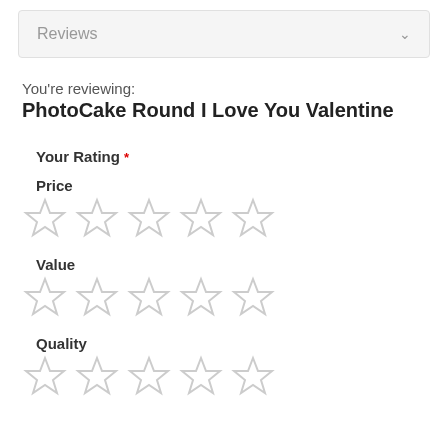Reviews
You're reviewing:
PhotoCake Round I Love You Valentine
Your Rating *
Price
[Figure (other): 5 empty star rating icons for Price]
Value
[Figure (other): 5 empty star rating icons for Value]
Quality
[Figure (other): 5 empty star rating icons for Quality]